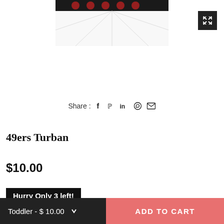[Figure (photo): Product photo of 49ers Turban headband, black fabric with team logos and red accents, shown draped/folded against white background with expand/zoom button in top right corner]
Share :
49ers Turban
$10.00
Hurry Only 3 left!
Toddler - $ 10.00  ADD TO CART